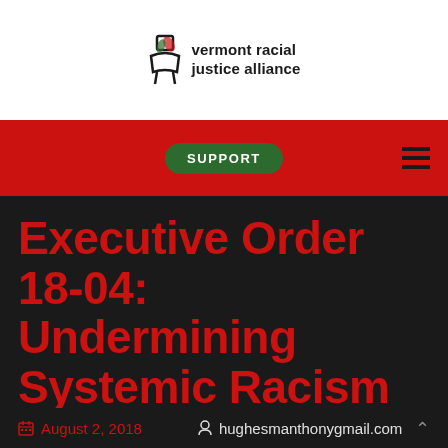[Figure (logo): Vermont Racial Justice Alliance logo with stylized figure icon and bold text]
SUPPORT
Executive Order 18-04: Undermining Systemic Racism Mitigation
August 2, 2018   hughesmanthonygmail.com